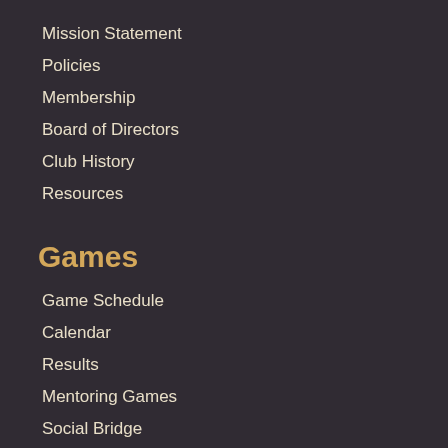Mission Statement
Policies
Membership
Board of Directors
Club History
Resources
Games
Game Schedule
Calendar
Results
Mentoring Games
Social Bridge
Tournaments
MP Races
BBO Club Games